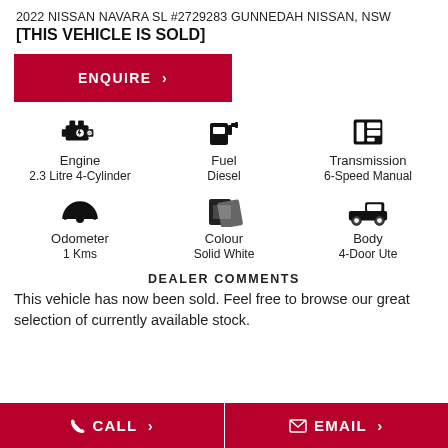2022 NISSAN NAVARA SL #2729283 GUNNEDAH NISSAN, NSW
[THIS VEHICLE IS SOLD]
ENQUIRE >
[Figure (infographic): Six vehicle specification icons in a 3x2 grid: Engine (2.3 Litre 4-Cylinder), Fuel (Diesel), Transmission (6-Speed Manual), Odometer (1 Kms), Colour (Solid White), Body (4-Door Ute)]
DEALER COMMENTS
This vehicle has now been sold. Feel free to browse our great selection of currently available stock.
CALL >
EMAIL >